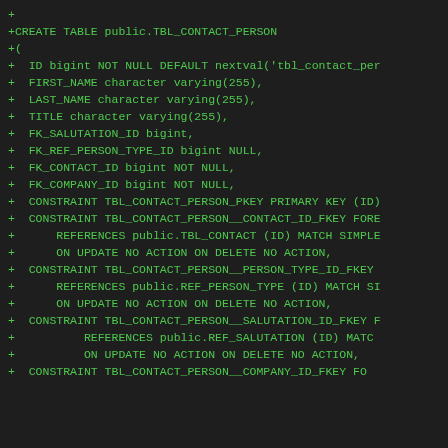SQL DDL code snippet showing CREATE TABLE statement for public.TBL_CONTACT_PERSON with column definitions and constraints